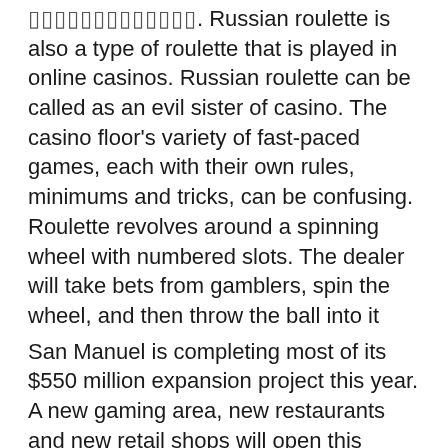▯▯▯▯▯▯▯▯▯▯▯▯▯. Russian roulette is also a type of roulette that is played in online casinos. Russian roulette can be called as an evil sister of casino. The casino floor's variety of fast-paced games, each with their own rules, minimums and tricks, can be confusing. Roulette revolves around a spinning wheel with numbered slots. The dealer will take bets from gamblers, spin the wheel, and then throw the ball into it
San Manuel is completing most of its $550 million expansion project this year. A new gaming area, new restaurants and new retail shops will open this summer. Later in the year the new San Manuel Hotel will open onsite with 432 guest rooms and suites, russian roulette rules casino. A new 3,000-seat event center will open in early 2022.
Today's Results: